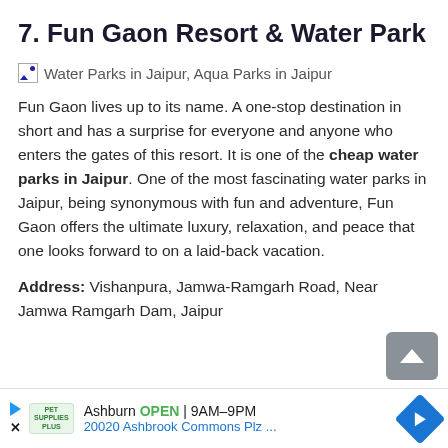7. Fun Gaon Resort & Water Park
[Figure (photo): Broken/placeholder image icon followed by alt text: Water Parks in Jaipur, Aqua Parks in Jaipur]
Fun Gaon lives up to its name. A one-stop destination in short and has a surprise for everyone and anyone who enters the gates of this resort. It is one of the cheap water parks in Jaipur. One of the most fascinating water parks in Jaipur, being synonymous with fun and adventure, Fun Gaon offers the ultimate luxury, relaxation, and peace that one looks forward to on a laid-back vacation.
Address: Vishanpura, Jamwa-Ramgarh Road, Near Jamwa Ramgarh Dam, Jaipur
Ashburn OPEN 9AM–9PM 20020 Ashbrook Commons Plz ...